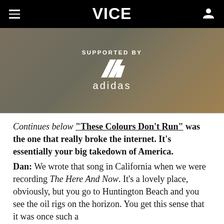VICE
[Figure (photo): Adidas advertisement banner with shoes background, showing 'SUPPORTED BY' text and Adidas logo with three stripes]
Continues below Your song "These Colours Don't Run" was the one that really broke the internet. It's essentially your big takedown of America.
Dan: We wrote that song in California when we were recording The Here And Now. It's a lovely place, obviously, but you go to Huntington Beach and you see the oil rigs on the horizon. You get this sense that it was once such a